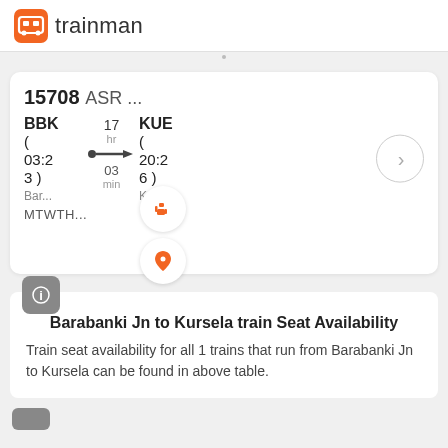trainman
15708 ASR ...
BBK  17  KUE
(   hr   (
03:2  03  20:2
3 )  min  6 )
Bar...  Kur...
MTWTF...
Barabanki Jn to Kursela train Seat Availability
Train seat availability for all 1 trains that run from Barabanki Jn to Kursela can be found in above table.